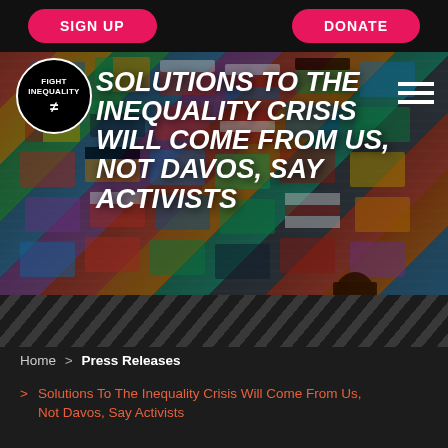SIGN UP   DONATE
[Figure (logo): Fight Inequality logo — black circle with white text FIGHT INEQUALITY and not-equal symbol]
SOLUTIONS TO THE INEQUALITY CRISIS WILL COME FROM US, NOT DAVOS, SAY ACTIVISTS
[Figure (photo): Background photo of international flags with a person silhouetted in foreground]
Home > Press Releases
> Solutions To The Inequality Crisis Will Come From Us, Not Davos, Say Activists